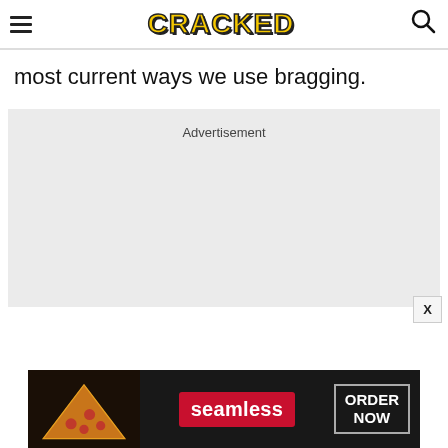CRACKED
most current ways we use bragging.
[Figure (other): Advertisement placeholder box with grey background and 'Advertisement' label, with an X close button]
[Figure (other): Seamless food delivery banner ad showing pizza slices on the left, Seamless logo in red, and ORDER NOW button on the right]